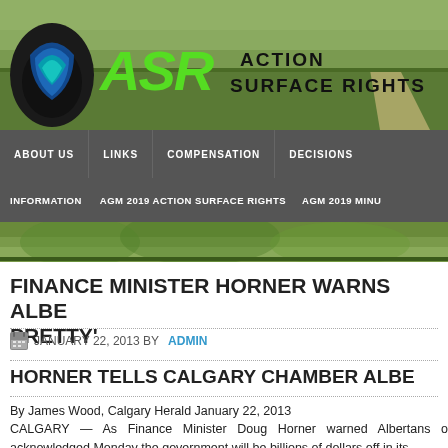[Figure (logo): ASR Action Surface Rights logo with green stylized text and droplet icon against landscape photo background]
ABOUT US | LINKS | COMPENSATION | DECISIONS
INFORMATION | AGM 2019 ACTION SURFACE RIGHTS | AGM 2019 MINU...
FINANCE MINISTER HORNER WARNS ALBE... PRETTY'
JANUARY 22, 2013 BY ADMIN
HORNER TELLS CALGARY CHAMBER ALBE...
By James Wood, Calgary Herald January 22, 2013
CALGARY — As Finance Minister Doug Horner warned Albertans o... acknowledged Monday the government will be billions of dollars off in its...